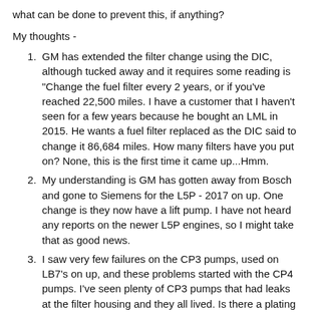what can be done to prevent this, if anything?
My thoughts -
GM has extended the filter change using the DIC, although tucked away and it requires some reading is "Change the fuel filter every 2 years, or if you've reached 22,500 miles. I have a customer that I haven't seen for a few years because he bought an LML in 2015. He wants a fuel filter replaced as the DIC said to change it 86,684 miles. How many filters have you put on? None, this is the first time it came up...Hmm.
My understanding is GM has gotten away from Bosch and gone to Siemens for the L5P - 2017 on up. One change is they now have a lift pump. I have not heard any reports on the newer L5P engines, so I might take that as good news.
I saw very few failures on the CP3 pumps, used on LB7's on up, and these problems started with the CP4 pumps. I've seen plenty of CP3 pumps that had leaks at the filter housing and they all lived. Is there a plating problem or just an inherent design flaw? I included a picture of where the metal comes from.